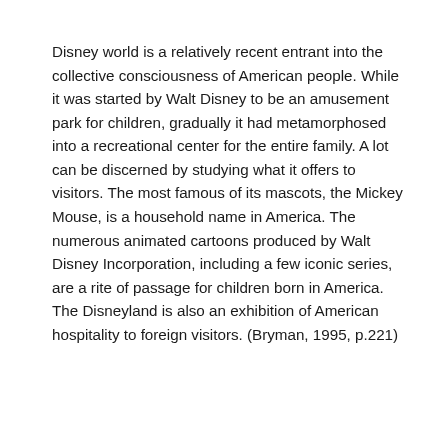Disney world is a relatively recent entrant into the collective consciousness of American people. While it was started by Walt Disney to be an amusement park for children, gradually it had metamorphosed into a recreational center for the entire family. A lot can be discerned by studying what it offers to visitors. The most famous of its mascots, the Mickey Mouse, is a household name in America. The numerous animated cartoons produced by Walt Disney Incorporation, including a few iconic series, are a rite of passage for children born in America. The Disneyland is also an exhibition of American hospitality to foreign visitors. (Bryman, 1995, p.221)